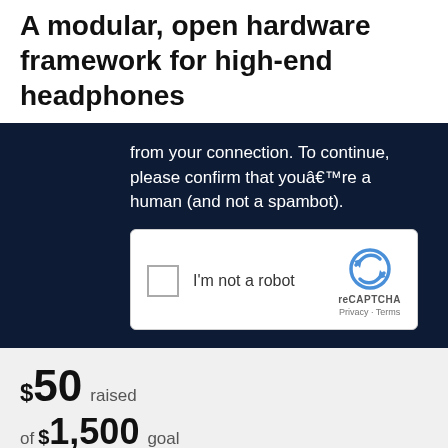A modular, open hardware framework for high-end headphones
from your connection. To continue, please confirm that youâ€™re a human (and not a spambot).
[Figure (screenshot): reCAPTCHA widget with checkbox labeled 'I'm not a robot' and reCAPTCHA logo with Privacy and Terms links]
$50 raised
of $1,500 goal